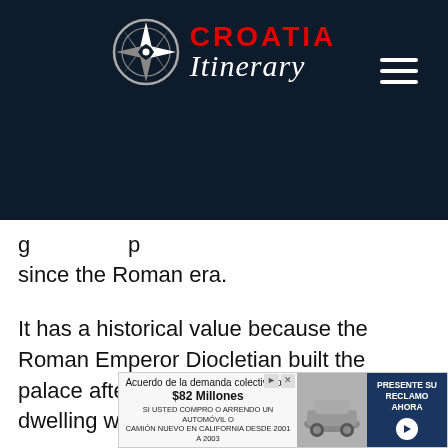[Figure (logo): Croatia Itinerary logo with compass rose icon and text 'CROATIA Itinerary' on dark navy background with hamburger menu icon]
g                    p
since the Roman era.
It has a historical value because the Roman Emperor Diocletian built the palace after he retired and it became his dwelling when he was no longer ruling th the R...
[Figure (screenshot): Advertisement banner: 'Acuerdo de la demanda colectiva por $82 Millones. SI USTED COMPRO O ARRENDO UN AUTOMÓVIL O CAMIÓN NUEVO EN CALIFORNIA DESDE 2001 A 2003. PRESENTE SU RECLAMO AHORA']